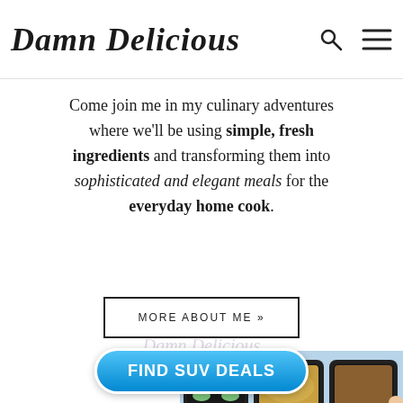Damn Delicious
Come join me in my culinary adventures where we'll be using simple, fresh ingredients and transforming them into sophisticated and elegant meals for the everyday home cook.
MORE ABOUT ME »
[Figure (photo): Three black meal prep containers filled with colorful food including vegetables, grains, and proteins, photographed from above on a light blue background.]
FIND SUV DEALS